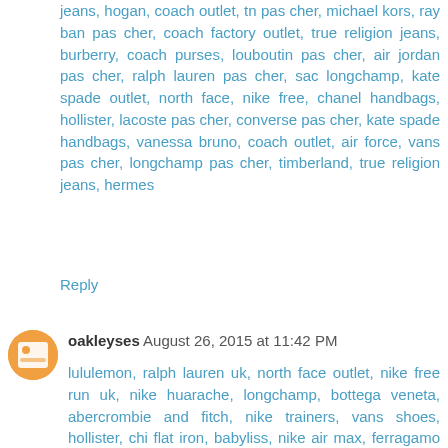jeans, hogan, coach outlet, tn pas cher, michael kors, ray ban pas cher, coach factory outlet, true religion jeans, burberry, coach purses, louboutin pas cher, air jordan pas cher, ralph lauren pas cher, sac longchamp, kate spade outlet, north face, nike free, chanel handbags, hollister, lacoste pas cher, converse pas cher, kate spade handbags, vanessa bruno, coach outlet, air force, vans pas cher, longchamp pas cher, timberland, true religion jeans, hermes
Reply
oakleyses  August 26, 2015 at 11:42 PM
lululemon, ralph lauren uk, north face outlet, nike free run uk, nike huarache, longchamp, bottega veneta, abercrombie and fitch, nike trainers, vans shoes, hollister, chi flat iron, babyliss, nike air max, ferragamo shoes, celine handbags, nike roshe, abercrombie and fitch, baseball bats, soccer shoes, p90x workout, birkin bag, ghd, herve leger, beats by dre, asics running shoes, reebok shoes, instyler, valentino shoes, mac cosmetics, mcm handbags, new balance, nike roshe, north face outlet, hollister